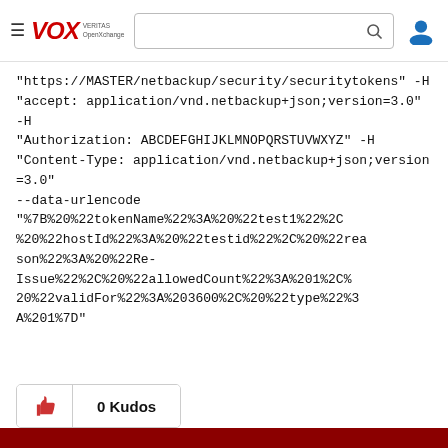VOX VERITAS OpenXchange — navigation header with search bar and user icon
"https://MASTER/netbackup/security/securitytokens" -H "accept: application/vnd.netbackup+json;version=3.0" -H "Authorization: ABCDEFGHIJKLMNOPQRSTUVWXYZ" -H "Content-Type: application/vnd.netbackup+json;version=3.0" --data-urlencode "%7B%20%22tokenName%22%3A%20%22test1%22%2C%20%22hostId%22%3A%20%22testid%22%2C%20%22reason%22%3A%20%22Re-Issue%22%2C%20%22allowedCount%22%3A%201%2C%20%22validFor%22%3A%203600%2C%20%22type%22%3A%201%7D"
0 Kudos